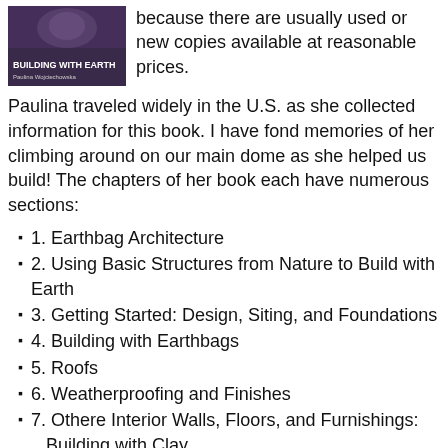[Figure (photo): Book cover of 'Building with Earth' with dark purple background and title text]
because there are usually used or new copies available at reasonable prices.
Paulina traveled widely in the U.S. as she collected information for this book. I have fond memories of her climbing around on our main dome as she helped us build! The chapters of her book each have numerous sections:
1. Earthbag Architecture
2. Using Basic Structures from Nature to Build with Earth
3. Getting Started: Design, Siting, and Foundations
4. Building with Earthbags
5. Roofs
6. Weatherproofing and Finishes
7. Othere Interior Walls, Floors, and Furnishings: Building with Clay
8. The Earthbag Adventure
This last chapter is fun. Paulina visited a number of homes and writes about them. We're in there, along with Kaki and Doni and others. This continues to be a very worthwhile